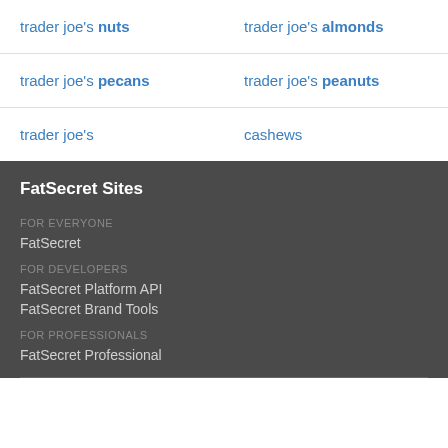trader joe's nuts
trader joe's almonds
trader joe's pecans
trader joe's peanuts
trader joe's
cashews
FatSecret Sites
FOR EVERYONE
FatSecret
FOR DEVELOPERS
FatSecret Platform API
FatSecret Brand Tools
FOR PROFESSIONALS
FatSecret Professional